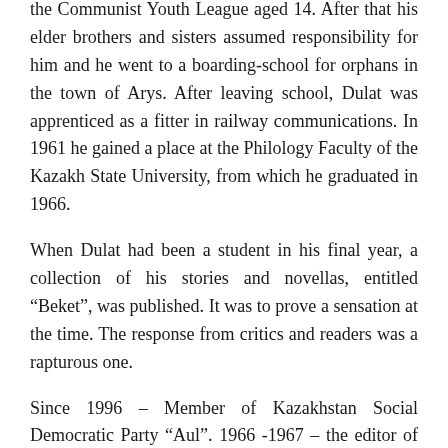the Communist Youth League aged 14. After that his elder brothers and sisters assumed responsibility for him and he went to a boarding-school for orphans in the town of Arys. After leaving school, Dulat was apprenticed as a fitter in railway communications. In 1961 he gained a place at the Philology Faculty of the Kazakh State University, from which he graduated in 1966.
When Dulat had been a student in his final year, a collection of his stories and novellas, entitled “Beket”, was published. It was to prove a sensation at the time. The response from critics and readers was a rapturous one.
Since 1996 – Member of Kazakhstan Social Democratic Party “Aul”. 1966 -1967 – the editor of the Kazakh Radio, served in the Soviet Army. 1971 – Head of “Zhuldyz” Journal ; 1973 – Head of the editorial